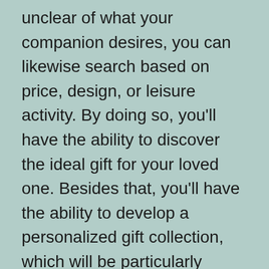unclear of what your companion desires, you can likewise search based on price, design, or leisure activity. By doing so, you'll have the ability to discover the ideal gift for your loved one. Besides that, you'll have the ability to develop a personalized gift collection, which will be particularly valued by your liked one.
Think about the event: Guys are notoriously challenging to purchase for, whether they're celebrating a birthday, wedding anniversary, or housewarming. Their tastes can be unstable, and also their wish lists are typically blank. Fortunately, you can match your man's